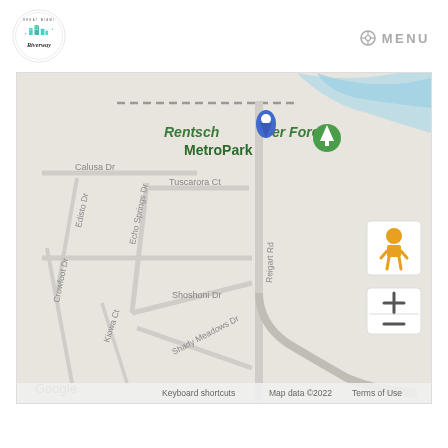[Figure (logo): Great Miami Riverway circular logo with teal illustration and script text]
MENU
[Figure (map): Google Maps screenshot showing Rentschler Forest MetroPark area with surrounding streets including Calusa Dr, Edisto Dr, Tuscarora Ct, Echo Springs Dr, Shoshoni Dr, Crowfoot Dr, Kiowa Ct, Shady Meadows Dr, Reigart Rd. Blue location pin marks Rentschler Forest MetroPark. River visible in upper right corner. Google watermark and map attribution at bottom.]